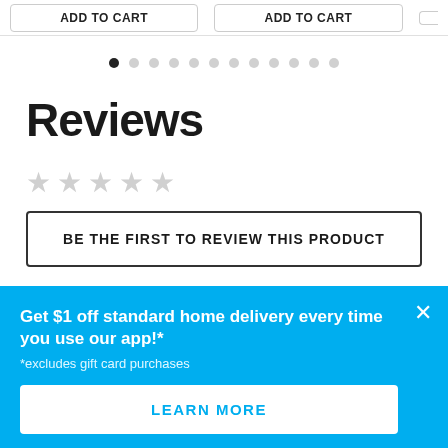[Figure (screenshot): Two 'ADD TO CART' buttons and a partially visible third, with a border/rounded rectangle style, at the top of the page.]
[Figure (infographic): Pagination dots row: one filled dark dot (active) followed by eleven light grey dots.]
Reviews
[Figure (infographic): Five empty/grey star rating icons indicating no reviews yet.]
BE THE FIRST TO REVIEW THIS PRODUCT
Get $1 off standard home delivery every time you use our app!*
*excludes gift card purchases
LEARN MORE